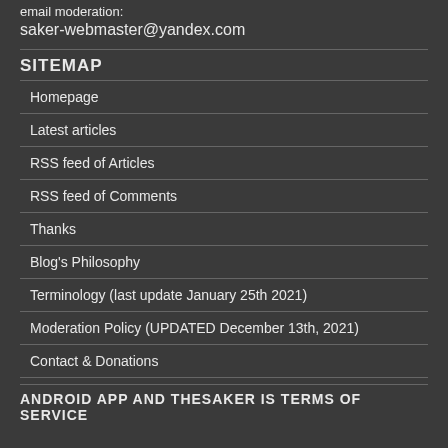email moderation:
saker-webmaster@yandex.com
SITEMAP
Homepage
Latest articles
RSS feed of Articles
RSS feed of Comments
Thanks
Blog's Philosophy
Terminology (last update January 25th 2021)
Moderation Policy (UPDATED December 13th, 2021)
Contact & Donations
ANDROID APP AND THESAKER IS TERMS OF SERVICE